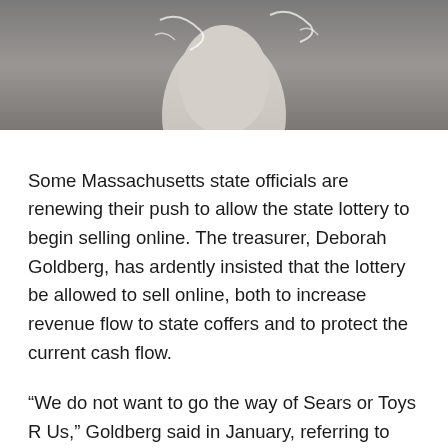[Figure (photo): Partial photo showing a person from below the shoulders, wearing light-colored clothing, against a grey background with decorative line elements]
Some Massachusetts state officials are renewing their push to allow the state lottery to begin selling online. The treasurer, Deborah Goldberg, has ardently insisted that the lottery be allowed to sell online, both to increase revenue flow to state coffers and to protect the current cash flow.
“We do not want to go the way of Sears or Toys R Us,” Goldberg said in January, referring to the lottery.
Legislators have been considering expanding gaming in the state by allowing sports betting. Goldberg believes that lottery selling online should be included in any expansion of gaming legislators decide to promote.